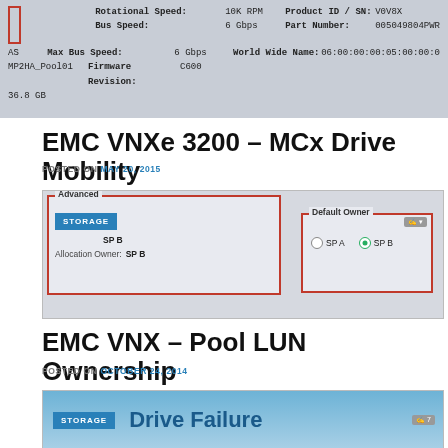[Figure (screenshot): Screenshot of storage device details showing Rotational Speed: 10K RPM, Bus Speed: 6 Gbps, Max Bus Speed: 6 Gbps, Firmware Revision: C600, Product ID/SN: V0V8X, Part Number: 005049804PWR, World Wide Name: 06:00:00:00:05:00:00:0..., plus fields SAS, MP2HA_Pool01, 36.8 GB]
EMC VNXe 3200 – MCx Drive Mobility
POSTED ON MAY 20, 2015
[Figure (screenshot): Screenshot showing Advanced panel with Storage badge, SP B ownership settings, and Default Owner panel with SP A and SP B radio buttons (SP B selected)]
EMC VNX – Pool LUN Ownership
POSTED ON OCTOBER 24, 2014
[Figure (screenshot): Screenshot showing Storage badge and Drive Failure heading with comment count 7]